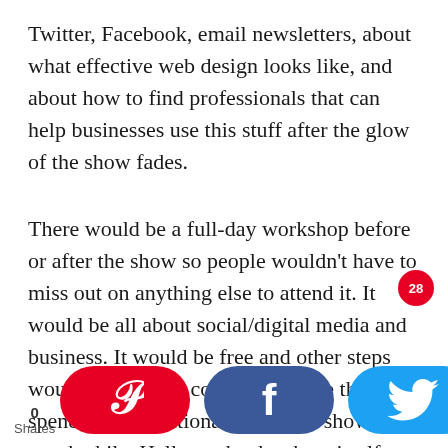Twitter, Facebook, email newsletters, about what effective web design looks like, and about how to find professionals that can help businesses use this stuff after the glow of the show fades.
There would be a full-day workshop before or after the show so people wouldn't have to miss out on anything else to attend it. It would be all about social/digital media and business. It would be free and other steps would be taken to convince people that spending an additional day at the show is worthwhile. Hell, maybe the show itself needs only to be Saturday and Sunday. People are used to a three-day trip. Maybe that Monday (though bet...
[Figure (infographic): Social sharing buttons bar at bottom of page: Pinterest (red pill button with P icon), Facebook (dark blue pill button with f icon), Twitter (light blue pill button with bird icon). Share count badge showing 28 in red circle. Shares label with 0 count at bottom left.]